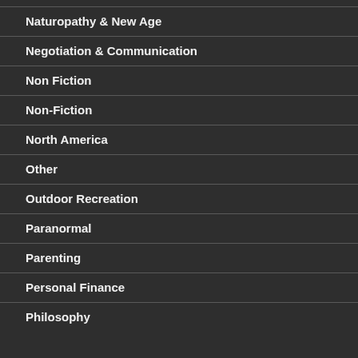Naturopathy & New Age
Negotiation & Communication
Non Fiction
Non-Fiction
North America
Other
Outdoor Recreation
Paranormal
Parenting
Personal Finance
Philosophy